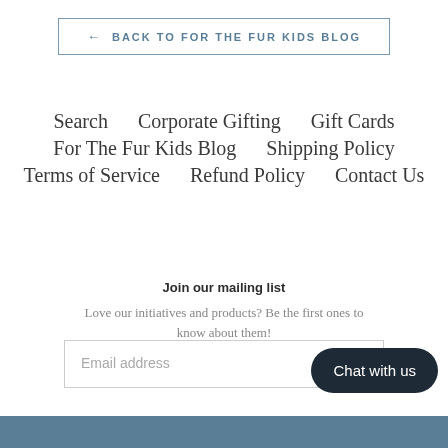← BACK TO FOR THE FUR KIDS BLOG
Search
Corporate Gifting
Gift Cards
For The Fur Kids Blog
Shipping Policy
Terms of Service
Refund Policy
Contact Us
Join our mailing list
Love our initiatives and products? Be the first ones to know about them!
Email address
Chat with us